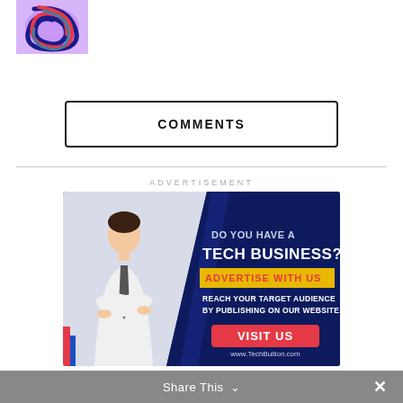[Figure (illustration): Colorful swirl logo/image in top left corner, featuring blue, red and purple swirls on a light purple background]
COMMENTS
ADVERTISEMENT
[Figure (other): Advertisement banner for TechBullion.com. Dark navy blue background with a man in white shirt and tie with arms crossed. Text reads: DO YOU HAVE A TECH BUSINESS? ADVERTISE WITH US. REACH YOUR TARGET AUDIENCE BY PUBLISHING ON OUR WEBSITE. VISIT US. www.TechBullion.com]
Share This  ✕